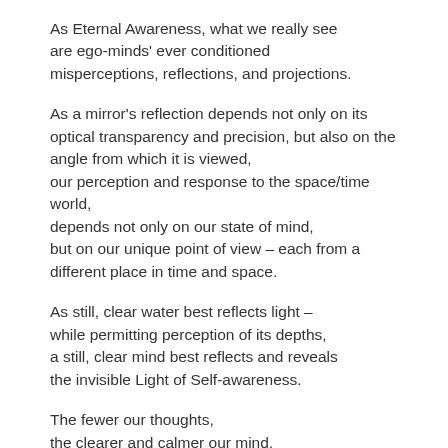As Eternal Awareness, what we really see are ego-minds' ever conditioned misperceptions, reflections, and projections.
As a mirror's reflection depends not only on its optical transparency and precision, but also on the angle from which it is viewed, our perception and response to the space/time world, depends not only on our state of mind, but on our unique point of view – each from a different place in time and space.
As still, clear water best reflects light – while permitting perception of its depths, a still, clear mind best reflects and reveals the invisible Light of Self-awareness.
The fewer our thoughts, the clearer and calmer our mind, and the deeper and more transparent our awareness.
The more we think,